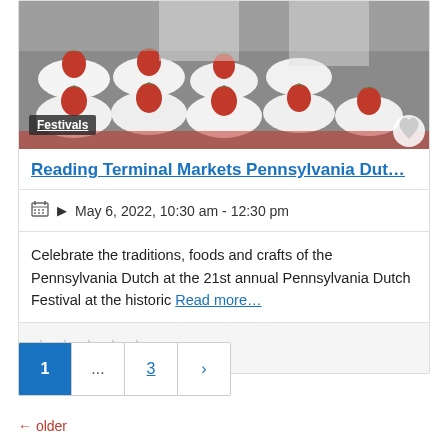[Figure (photo): Photo of chefs/bakers presenting white cream desserts topped with strawberries on trays at a food festival.]
Festivals
Reading Terminal Markets Pennsylvania Dut…
May 6, 2022, 10:30 am - 12:30 pm
Celebrate the traditions, foods and crafts of the Pennsylvania Dutch at the 21st annual Pennsylvania Dutch Festival at the historic Read more…
★★★★★ (empty star rating)
1 … 3 > (pagination)
← older